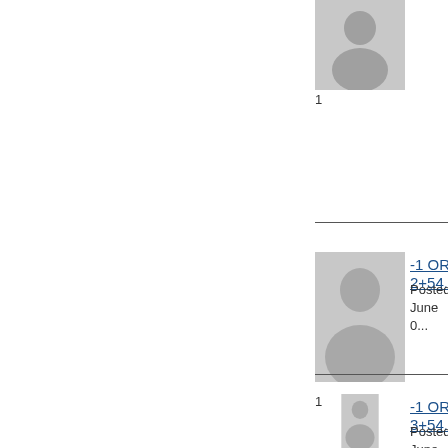[Figure (illustration): Default user avatar placeholder (grey silhouette), top section, partially cropped]
1
[Figure (illustration): Default user avatar placeholder (grey silhouette), second section]
-1 OR 2+54...
Posted June 0...
1
[Figure (illustration): Default user avatar placeholder (grey silhouette), third section]
-1 OR 3+54...
Posted June 0...